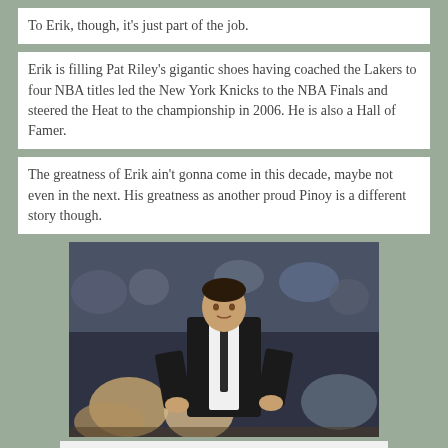To Erik, though, it's just part of the job.
Erik is filling Pat Riley's gigantic shoes having coached the Lakers to four NBA titles led the New York Knicks to the NBA Finals and steered the Heat to the championship in 2006. He is also a Hall of Famer.
The greatness of Erik ain't gonna come in this decade, maybe not even in the next. His greatness as another proud Pinoy is a different story though.
[Figure (photo): A man in a dark suit and tie standing with hands on hips on a basketball court sideline, with blurred crowd in the background.]
... and he is single
Xath Cruz at 3:23 AM